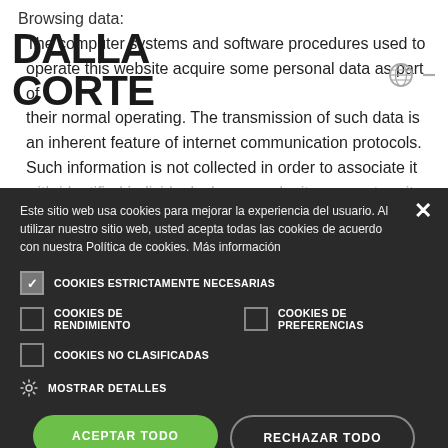Browsing data:
[Figure (logo): DALLA CORTE logo in bold black text]
The computer systems and software procedures used to operate this website acquire some personal data as part of their normal operating. The transmission of such data is an inherent feature of internet communication protocols. Such information is not collected in order to associate it with identified individuals, however, by its very nature it
Este sitio web usa cookies para mejorar la experiencia del usuario. Al utilizar nuestro sitio web, usted acepta todas las cookies de acuerdo con nuestra Política de cookies. Más información
COOKIES ESTRICTAMENTE NECESARIAS
COOKIES DE RENDIMIENTO
COOKIES DE PREFERENCIAS
COOKIES NO CLASIFICADAS
MOSTRAR DETALLES
ACEPTAR TODO
RECHAZAR TODO